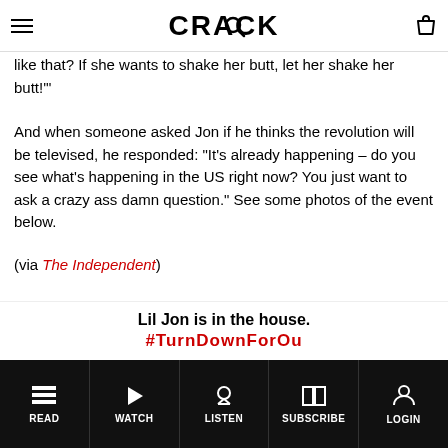CRACK
like that? If she wants to shake her butt, let her shake her butt!'"
And when someone asked Jon if he thinks the revolution will be televised, he responded: “It’s already happening – do you see what’s happening in the US right now? You just want to ask a crazy ass damn question.” See some photos of the event below.
(via The Independent)
Lil Jon is in the house.
#TurnDownForOu
READ  WATCH  LISTEN  SUBSCRIBE  LOGIN